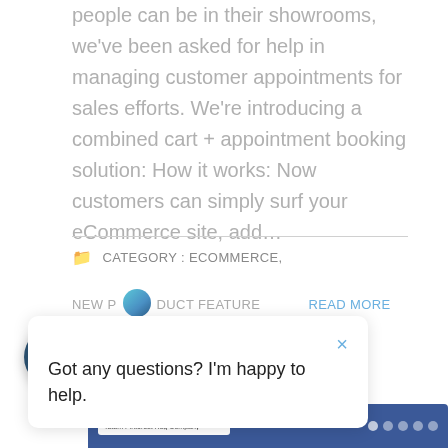people can be in their showrooms, we've been asked for help in managing customer appointments for sales efforts. We're introducing a combined cart + appointment booking solution: How it works: Now customers can simply surf your eCommerce site, add…
CATEGORY : ECOMMERCE,
NEW PRODUCT FEATURE
READ MORE
[Figure (screenshot): Chat popup overlay with close button (×) and text 'Got any questions? I'm happy to help.' with a circular chat bot icon at top]
[Figure (screenshot): Dark circular chat launcher button with speech bubble icon at bottom left]
[Figure (screenshot): Partial screenshot of a Facebook-style website page at the bottom]